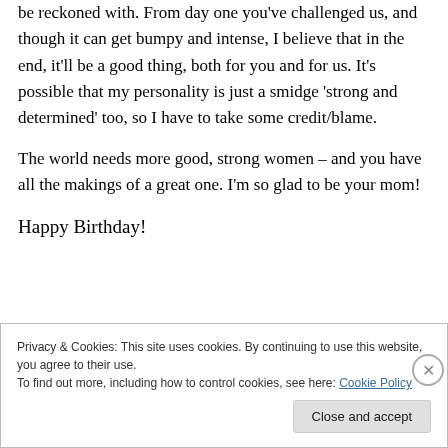be reckoned with. From day one you've challenged us, and though it can get bumpy and intense, I believe that in the end, it'll be a good thing, both for you and for us. It's possible that my personality is just a smidge 'strong and determined' too, so I have to take some credit/blame.
The world needs more good, strong women – and you have all the makings of a great one. I'm so glad to be your mom!
Happy Birthday!
Privacy & Cookies: This site uses cookies. By continuing to use this website, you agree to their use. To find out more, including how to control cookies, see here: Cookie Policy